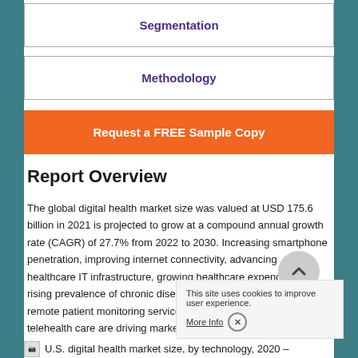Segmentation
Methodology
Request a FREE Sample Copy
Report Overview
The global digital health market size was valued at USD 175.6 billion in 2021 is projected to grow at a compound annual growth rate (CAGR) of 27.7% from 2022 to 2030. Increasing smartphone penetration, improving internet connectivity, advancing healthcare IT infrastructure, growing healthcare expenditure, rising prevalence of chronic diseases, increasing demand for remote patient monitoring services, and increasing demand for telehealth care are driving market growth.
U.S. digital health market size, by technology, 2020 –